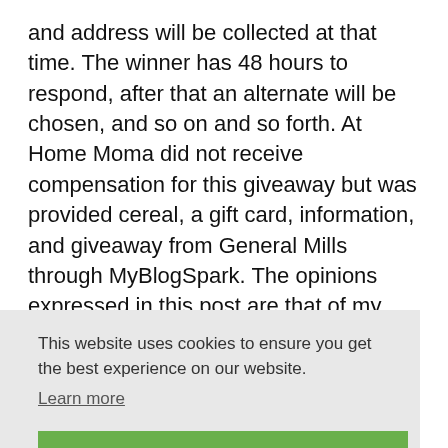and address will be collected at that time. The winner has 48 hours to respond, after that an alternate will be chosen, and so on and so forth. At Home Moma did not receive compensation for this giveaway but was provided cereal, a gift card, information, and giveaway from General Mills through MyBlogSpark. The opinions expressed in this post are that of my own.
This website uses cookies to ensure you get the best experience on our website.
Learn more
Got it!